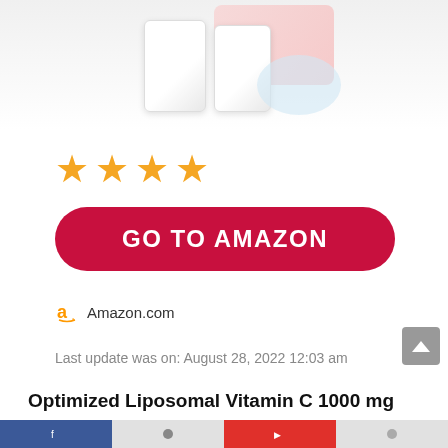[Figure (photo): Product images of supplement bottles against a light background with pink accent]
[Figure (infographic): 4 orange star rating icons]
GO TO AMAZON
Amazon.com
Last update was on: August 28, 2022 12:03 am
Optimized Liposomal Vitamin C 1000 mg Liquid | Original Orange Formula | Quali®-C Scottish Ascorbic Acid | China-Free|